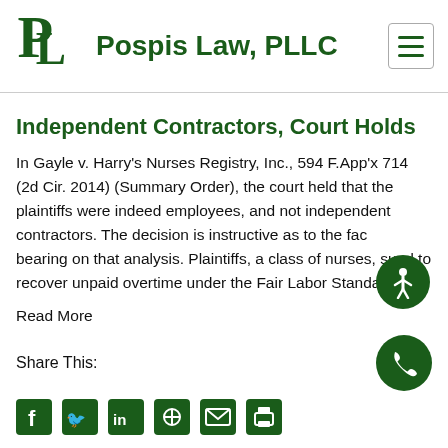Pospis Law, PLLC
Independent Contractors, Court Holds
In Gayle v. Harry's Nurses Registry, Inc., 594 F.App'x 714 (2d Cir. 2014) (Summary Order), the court held that the plaintiffs were indeed employees, and not independent contractors. The decision is instructive as to the factors bearing on that analysis. Plaintiffs, a class of nurses, sued to recover unpaid overtime under the Fair Labor Standards…
Read More
Share This: